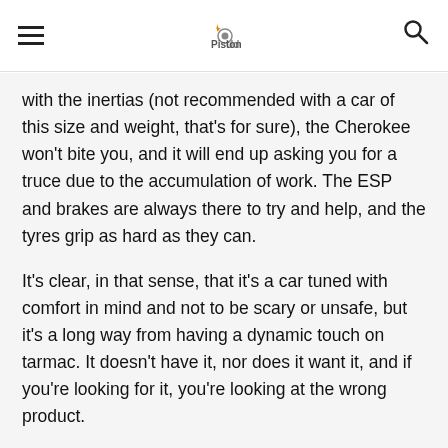PistonUdos
with the inertias (not recommended with a car of this size and weight, that's for sure), the Cherokee won't bite you, and it will end up asking you for a truce due to the accumulation of work. The ESP and brakes are always there to try and help, and the tyres grip as hard as they can.
It's clear, in that sense, that it's a car tuned with comfort in mind and not to be scary or unsafe, but it's a long way from having a dynamic touch on tarmac. It doesn't have it, nor does it want it, and if you're looking for it, you're looking at the wrong product.
ALL TERRAIN
The good thing about all this is that what is a disadvantage